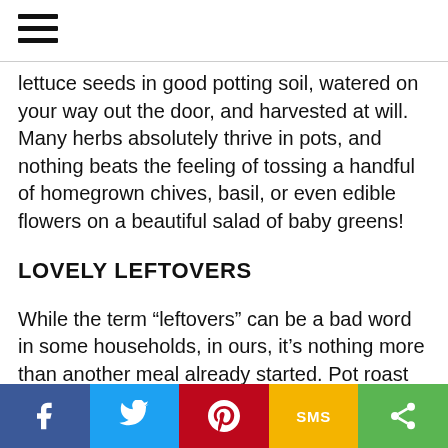[hamburger menu icon]
lettuce seeds in good potting soil, watered on your way out the door, and harvested at will. Many herbs absolutely thrive in pots, and nothing beats the feeling of tossing a handful of homegrown chives, basil, or even edible flowers on a beautiful salad of baby greens!
LOVELY LEFTOVERS
While the term “leftovers” can be a bad word in some households, in ours, it’s nothing more than another meal already started. Pot roast makes great sandwiches, stir fry, any one of a hundred types of soup, baked potato stuffing, or goulash
f  [twitter]  [pinterest]  SMS  [share]